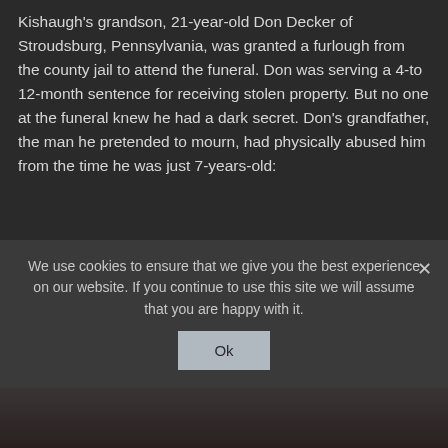Kishaugh's grandson, 21-year-old Don Decker of Stroudsburg, Pennsylvania, was granted a furlough from the county jail to attend the funeral. Don was serving a 4-to 12-month sentence for receiving stolen property. But no one at the funeral knew he had a dark secret. Don's grandfather, the man he pretended to mourn, had physically abused him from the time he was just 7-years-old:
“No other part of the family knew anything about what happened, and it was like good fighting evil. The evil was gone and I was hoping, you know, that everything would change.”
We use cookies to ensure that we give you the best experience on our website. If you continue to use this site we will assume that you are happy with it.